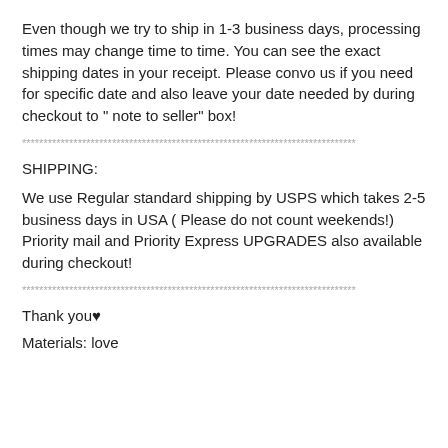Even though we try to ship in 1-3 business days, processing times may change time to time. You can see the exact shipping dates in your receipt. Please convo us if you need for specific date and also leave your date needed by during checkout to " note to seller" box!
******************************************************************************
SHIPPING:
We use Regular standard shipping by USPS which takes 2-5 business days in USA ( Please do not count weekends!) Priority mail and Priority Express UPGRADES also available during checkout!
******************************************************************************
Thank you♥
Materials: love